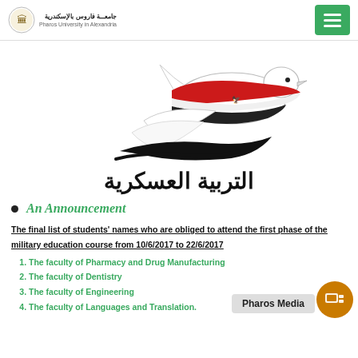جامعـــة فاروس بالإسكندرية / Pharos University in Alexandria
[Figure (illustration): Illustration of a dove with Egyptian flag colors (red, white, black) and eagle emblem, with calligraphic Arabic text]
التربية العسكرية
An Announcement
The final list of students' names who are obliged to attend the first phase of the military education course from 10/6/2017 to 22/6/2017
The faculty of Pharmacy and Drug Manufacturing
The faculty of Dentistry
The faculty of Engineering
The faculty of Languages and Translation.